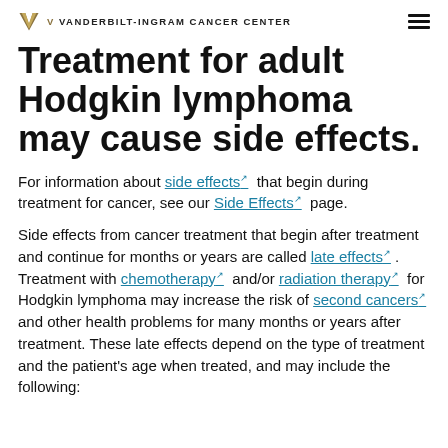VANDERBILT-INGRAM CANCER CENTER
Treatment for adult Hodgkin lymphoma may cause side effects.
For information about side effects that begin during treatment for cancer, see our Side Effects page.
Side effects from cancer treatment that begin after treatment and continue for months or years are called late effects. Treatment with chemotherapy and/or radiation therapy for Hodgkin lymphoma may increase the risk of second cancers and other health problems for many months or years after treatment. These late effects depend on the type of treatment and the patient's age when treated, and may include the following: